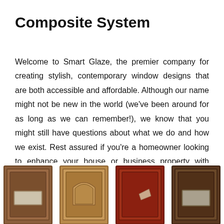Composite System
Welcome to Smart Glaze, the premier company for creating stylish, contemporary window designs that are both accessible and affordable. Although our name might not be new in the world (we've been around for as long as we can remember!), we know that you might still have questions about what we do and how we exist. Rest assured if you're a homeowner looking to enhance your house or business property with extended living space – or create a cheerful, safe environment in which to work then this is surely the place to talk.
[Figure (photo): Four composite door panels displayed in a row at the bottom of the page: first is a brown door with a rectangular frosted glass panel, second is a lighter wood-tone door with an arched panel design, third is a red/cherry colored door with a small angled panel, fourth is a dark brown door with a rectangular frosted glass panel.]